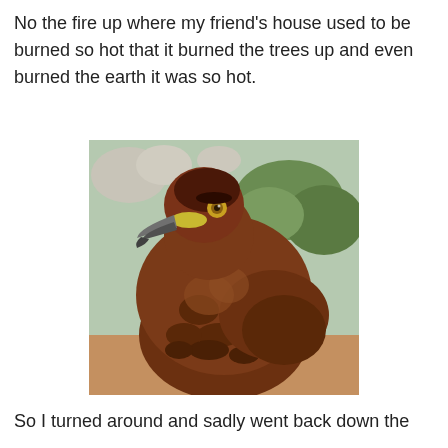No the fire up where my friend's house used to be burned so hot that it burned the trees up and even burned the earth it was so hot.
[Figure (photo): A close-up photograph of a large brown bird of prey (hawk or eagle) with dark brown feathers, a yellow and grey beak, and a sharp eye, facing left. The background shows blurred green shrubs and rocks.]
So I turned around and sadly went back down the